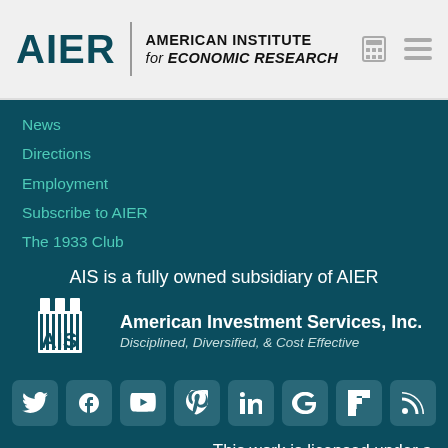AIER | AMERICAN INSTITUTE for ECONOMIC RESEARCH
News
Directions
Employment
Subscribe to AIER
The 1933 Club
AIS is a fully owned subsidiary of AIER
[Figure (logo): AIS logo with castle icon and text 'American Investment Services, Inc. Disciplined, Diversified, & Cost Effective']
[Figure (infographic): Social media icons row: Twitter, Facebook, YouTube, Pinterest, LinkedIn, Google, Flipboard, RSS]
This work is licensed under a Creative Commons Attribution 4.0 International License,